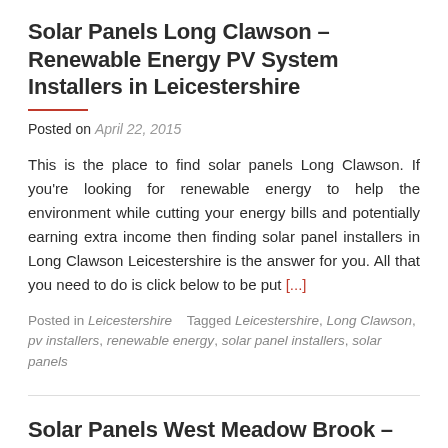Solar Panels Long Clawson – Renewable Energy PV System Installers in Leicestershire
Posted on April 22, 2015
This is the place to find solar panels Long Clawson. If you're looking for renewable energy to help the environment while cutting your energy bills and potentially earning extra income then finding solar panel installers in Long Clawson Leicestershire is the answer for you. All that you need to do is click below to be put [...]
Posted in Leicestershire    Tagged Leicestershire, Long Clawson, pv installers, renewable energy, solar panel installers, solar panels
Solar Panels West Meadow Brook – Renewable Energy PV System